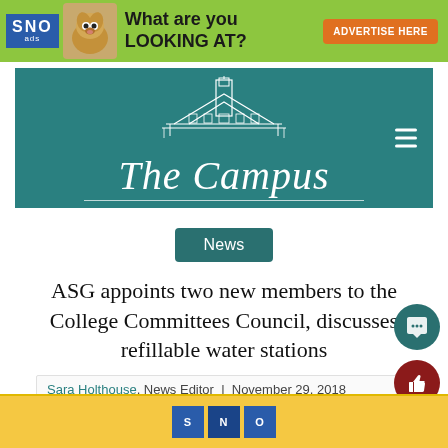[Figure (other): SNO ads banner advertisement with green background, chihuahua dog image, 'What are you LOOKING AT?' text, and orange 'ADVERTISE HERE' button]
[Figure (logo): The Campus newspaper masthead logo with teal background, white building/tower illustration, and serif 'The Campus' text]
News
ASG appoints two new members to the College Committees Council, discusses refillable water stations
Sara Holthouse, News Editor  |  November 29, 2018
[Figure (other): Bottom image strip showing SNO branding on yellow/gold background]